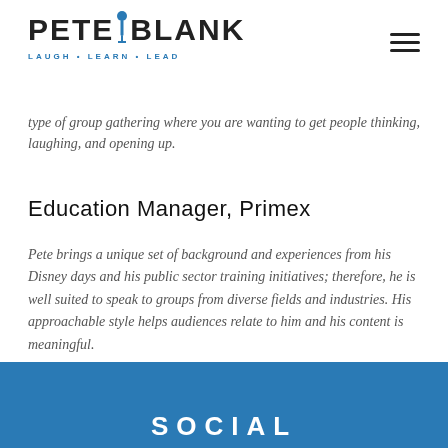PETE BLANK — LAUGH • LEARN • LEAD
type of group gathering where you are wanting to get people thinking, laughing, and opening up.
Education Manager, Primex
Pete brings a unique set of background and experiences from his Disney days and his public sector training initiatives; therefore, he is well suited to speak to groups from diverse fields and industries. His approachable style helps audiences relate to him and his content is meaningful.
SOCIAL